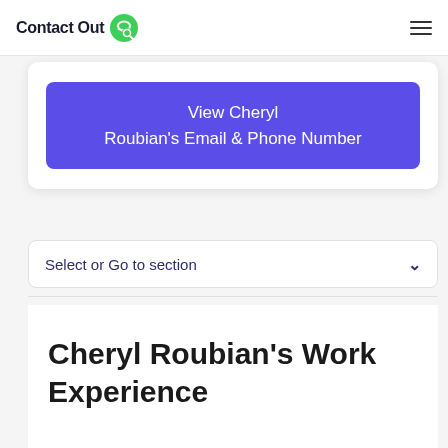ContactOut
View Cheryl Roubian's Email & Phone Number
Select or Go to section
Cheryl Roubian's Work Experience